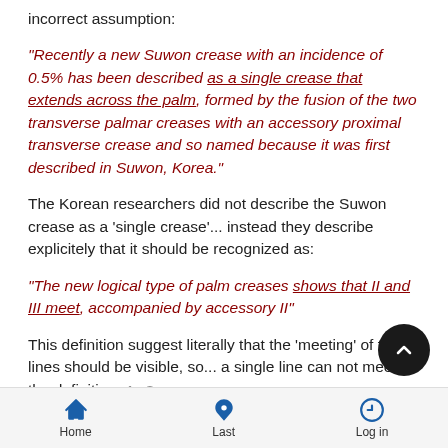incorrect assumption:
“Recently a new Suwon crease with an incidence of 0.5% has been described as a single crease that extends across the palm, formed by the fusion of the two transverse palmar creases with an accessory proximal transverse crease and so named because it was first described in Suwon, Korea.”
The Korean researchers did not describe the Suwon crease as a ‘single crease’... instead they describe explicitely that it should be recognized as:
“The new logical type of palm creases shows that II and III meet, accompanied by accessory II”
This definition suggest literally that the ‘meeting’ of the 2 lines should be visible, so... a single line can not meet the definition of a Suwon crease.
Home  Last  Log in